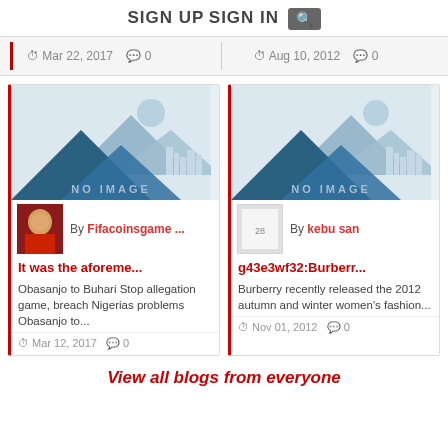SIGN UP  SIGN IN  🔍
Mar 22, 2017  💬 0
Aug 10, 2012  💬 0
[Figure (illustration): No image placeholder with mountain landscape illustration]
By Fifacoinsgame ...
It was the aforeme...
Obasanjo to Buhari Stop allegation game, breach Nigerias problems Obasanjo to...
Mar 12, 2017  💬 0
[Figure (illustration): No image placeholder with mountain landscape illustration]
By kebu san
g43e3wf32:Burberr...
Burberry recently released the 2012 autumn and winter women's fashion...
Nov 01, 2012  💬 0
View all blogs from everyone